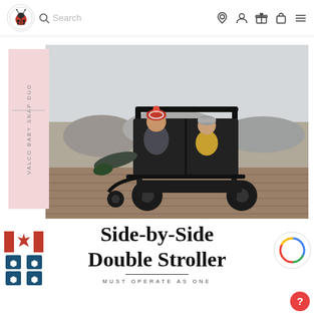Ladybug logo, Search bar, navigation icons (location, user, gift, bag, menu)
[Figure (photo): Two young children in winter hats seated in a black Valco Baby Snap Duo side-by-side double stroller on a wooden boardwalk by a rocky beach. Pink label strip on the left side reads 'VALCO BABY SNAP DUO' vertically.]
Side-by-Side Double Stroller
MUST OPERATE AS ONE